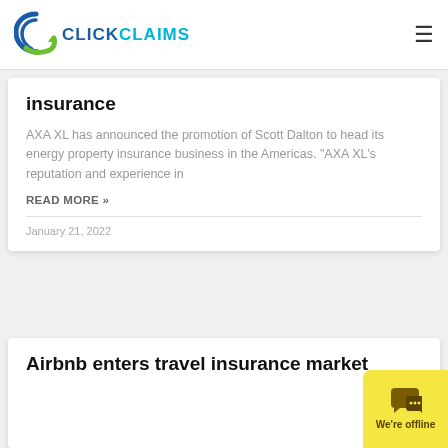[Figure (logo): ClickClaims logo with circular arrow icon in blue and green, text CLICK in dark blue and CLAIMS in cyan]
insurance
AXA XL has announced the promotion of Scott Dalton to head its energy property insurance business in the Americas. "AXA XL's reputation and experience in
READ MORE »
January 21, 2022
Airbnb enters travel insurance market
[Figure (illustration): Yellow chat bubble widget with speech bubble icon and 'We're offline' text]